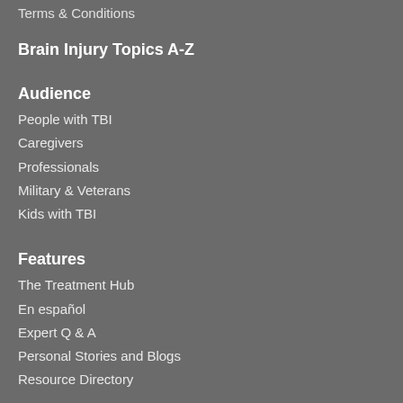Terms & Conditions
Brain Injury Topics A-Z
Audience
People with TBI
Caregivers
Professionals
Military & Veterans
Kids with TBI
Features
The Treatment Hub
En español
Expert Q & A
Personal Stories and Blogs
Resource Directory